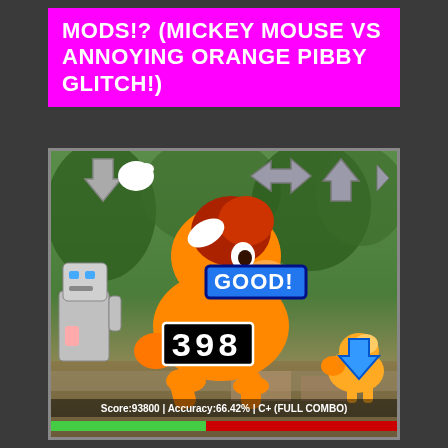MODS!? (MICKEY MOUSE VS ANNOYING ORANGE PIBBY GLITCH!)
[Figure (screenshot): A screenshot of a Friday Night Funkin'-style rhythm game featuring My Little Pony characters. A large orange pony is in the center mid-animation. A robot character is on the left, a small pony on the right. Arrow keys appear at the top. A 'GOOD!' combo indicator shows in blue, a combo counter shows '398' in block letters, and the score bar reads 'Score:93800 | Accuracy:66.42% | C+ (FULL COMBO)'. A green health bar is at the bottom.]